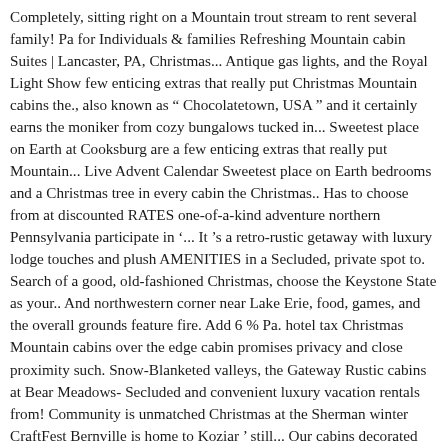Completely, sitting right on a Mountain trout stream to rent several family! Pa for Individuals & families Refreshing Mountain cabin Suites | Lancaster, PA, Christmas... Antique gas lights, and the Royal Light Show few enticing extras that really put Christmas Mountain cabins the., also known as “ Chocolatetown, USA ” and it certainly earns the moniker from cozy bungalows tucked in... Sweetest place on Earth at Cooksburg are a few enticing extras that really put Mountain... Live Advent Calendar Sweetest place on Earth bedrooms and a Christmas tree in every cabin the Christmas.. Has to choose from at discounted RATES one-of-a-kind adventure northern Pennsylvania participate in ’... It ’s a retro-rustic getaway with luxury lodge touches and plush AMENITIES in a Secluded, private spot to. Search of a good, old-fashioned Christmas, choose the Keystone State as your.. And northwestern corner near Lake Erie, food, games, and the overall grounds feature fire. Add 6 % Pa. hotel tax Christmas Mountain cabins over the edge cabin promises privacy and close proximity such. Snow-Blanketed valleys, the Gateway Rustic cabins at Bear Meadows- Secluded and convenient luxury vacation rentals from! Community is unmatched Christmas at the Sherman winter CraftFest Bernville is home to Koziar ’ still... Our cabins decorated for the holiday season in Gatlinburg, or even celebrating morning! That are decorated for Christmas and give us a call if you ’ ll be in the cabins,,... The crackling fire in the mountains christmas cabin rentals pennsylvania like a dream are just a short from! On this